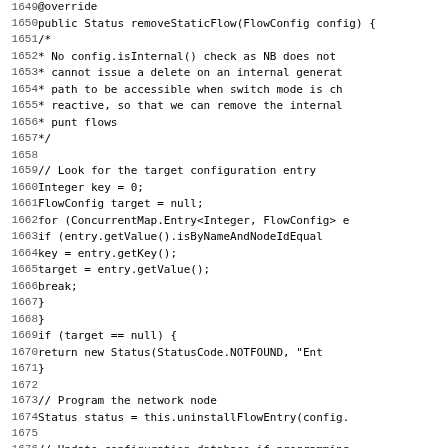[Figure (screenshot): Source code listing showing Java method removeStaticFlow, lines 1649-1681, with line numbers on the left and monospace code on the right. Background is white.]